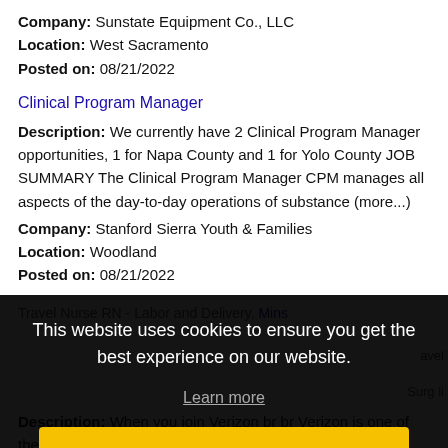Company: Sunstate Equipment Co., LLC
Location: West Sacramento
Posted on: 08/21/2022
Clinical Program Manager
Description: We currently have 2 Clinical Program Manager opportunities, 1 for Napa County and 1 for Yolo County JOB SUMMARY The Clinical Program Manager CPM manages all aspects of the day-to-day operations of substance (more...)
Company: Stanford Sierra Youth & Families
Location: Woodland
Posted on: 08/21/2022
This website uses cookies to ensure you get the best experience on our website.
Learn more
Got it!
Description: When you join Verizon br br Verizon is one of the